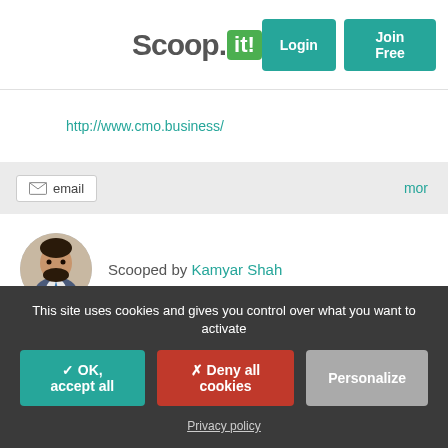Scoop.it! — Login | Join Free
http://www.cmo.business/
email  more
Scooped by Kamyar Shah
The Pros and Cons of Traditional Marketing
This site uses cookies and gives you control over what you want to activate
✓ OK, accept all  ✗ Deny all cookies  Personalize
Privacy policy